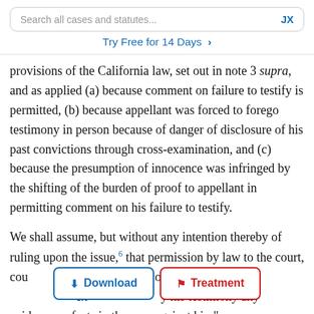Search all cases and statutes...   JX
Try Free for 14 Days >
provisions of the California law, set out in note 3 supra, and as applied (a) because comment on failure to testify is permitted, (b) because appellant was forced to forego testimony in person because of danger of disclosure of his past convictions through cross-examination, and (c) because the presumption of innocence was infringed by the shifting of the burden of proof to appellant in permitting comment on his failure to testify.
We shall assume, but without any intention thereby of ruling upon the issue,6 that permission by law to the court, counsel, or jury to comment on or consider the failure of defendant to explain or to deny by his testimony any evidence or facts in the case against him"